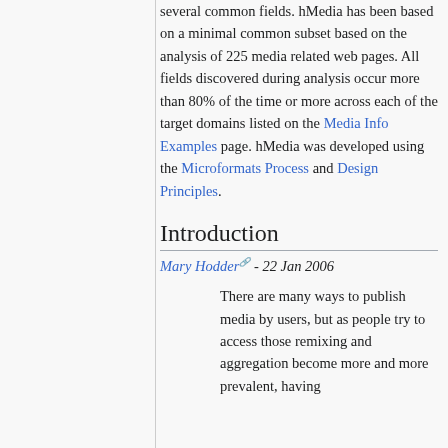several common fields. hMedia has been based on a minimal common subset based on the analysis of 225 media related web pages. All fields discovered during analysis occur more than 80% of the time or more across each of the target domains listed on the Media Info Examples page. hMedia was developed using the Microformats Process and Design Principles.
Introduction
Mary Hodder - 22 Jan 2006
There are many ways to publish media by users, but as people try to access those remixing and aggregation become more and more prevalent, having